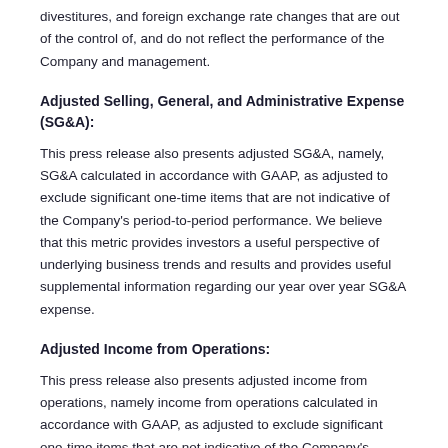divestitures, and foreign exchange rate changes that are out of the control of, and do not reflect the performance of the Company and management.
Adjusted Selling, General, and Administrative Expense (SG&A):
This press release also presents adjusted SG&A, namely, SG&A calculated in accordance with GAAP, as adjusted to exclude significant one-time items that are not indicative of the Company's period-to-period performance. We believe that this metric provides investors a useful perspective of underlying business trends and results and provides useful supplemental information regarding our year over year SG&A expense.
Adjusted Income from Operations:
This press release also presents adjusted income from operations, namely income from operations calculated in accordance with GAAP, as adjusted to exclude significant one-time items that are not indicative of the Company's period-to-period performance. We believe that this metric provides